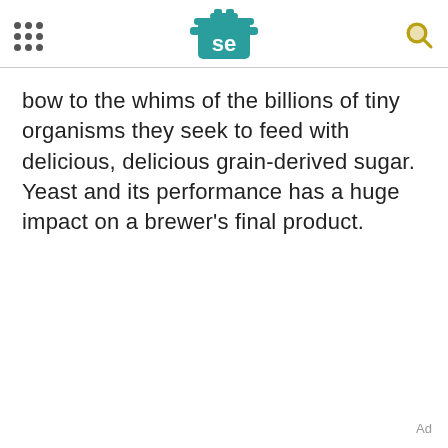[Figure (logo): Serious Eats logo: teal cooking pot icon with 'se' text in white, centered in header]
bow to the whims of the billions of tiny organisms they seek to feed with delicious, delicious grain-derived sugar. Yeast and its performance has a huge impact on a brewer's final product.
Ad